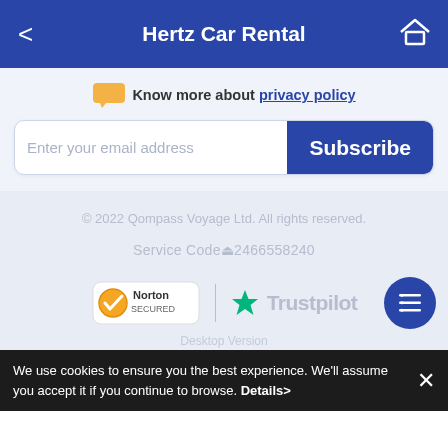Hertz Car Rental
Know more about privacy policy
Enter your email address  Subscribe
© 2022 Qompass Voyage Ltd. All rights reserved.
Service Code02466558240
[Figure (logo): Norton Secured badge and Trustpilot logo with green star]
Desktop Version
We use cookies to ensure you the best experience. We'll assume you accept it if you continue to browse. Details>